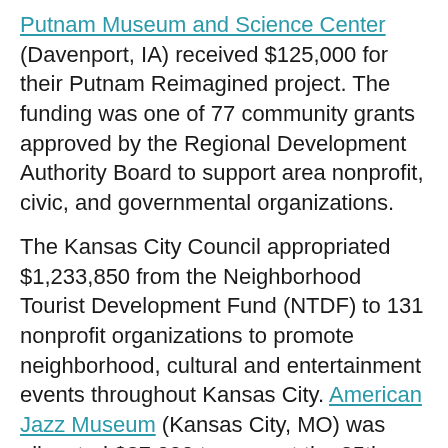Putnam Museum and Science Center (Davenport, IA) received $125,000 for their Putnam Reimagined project. The funding was one of 77 community grants approved by the Regional Development Authority Board to support area nonprofit, civic, and governmental organizations.
The Kansas City Council appropriated $1,233,850 from the Neighborhood Tourist Development Fund (NTDF) to 131 nonprofit organizations to promote neighborhood, cultural and entertainment events throughout Kansas City. American Jazz Museum (Kansas City, MO) was allocated $27,000 to support the 25th Anniversary Concert Series.
The National Endowment for the Humanities announced $33.17 million in grants for 245 humanities projects across the country featuring the following Affiliates:
History Colorado (Denver, CO) ($40,000) for the reinterpretation of Fort Garland Museum, an 1850s U.S. Army fort in south-central Colorado.